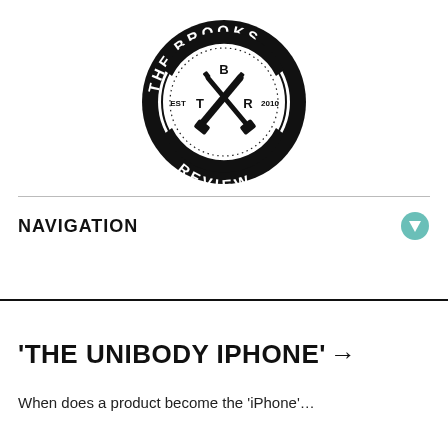[Figure (logo): The Brooks Review circular logo — black circle with 'THE BROOKS' at top, 'REVIEW' at bottom, crossed pen and marker in center, 'B' above, 'T' left, 'R' right, 'EST' left, '2010' right]
NAVIGATION
'THE UNIBODY IPHONE' →
When does a product become the 'iPhone'...